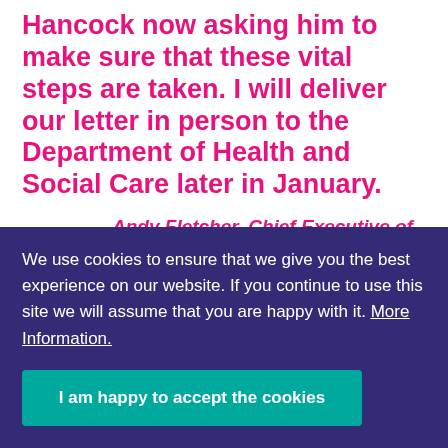Hancock now asking him to make sure that these vital steps are taken. I will deliver our letter in person to the Department of Health and Social Care later in January.
Andy Fletcher, Chief Executive of Together for Short Lives.
We use cookies to ensure that we give you the best experience on our website. If you continue to use this site we will assume that you are happy with it. More Information.
I am happy to accept the cookies